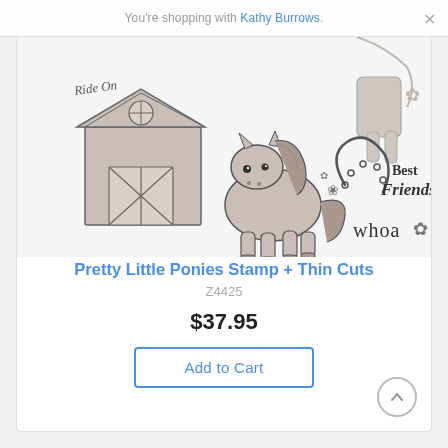You're shopping with Kathy Burrows.
[Figure (illustration): Product image showing Pretty Little Ponies stamp set with cartoon barn, cute pony, horseshoe with flowers, 'Best Friends' text, 'whoa' text, 'Ride On' text, and flower decorative elements — all in a line-art stamp style on light background.]
Pretty Little Ponies Stamp + Thin Cuts
Z4425
$37.95
Add to Cart